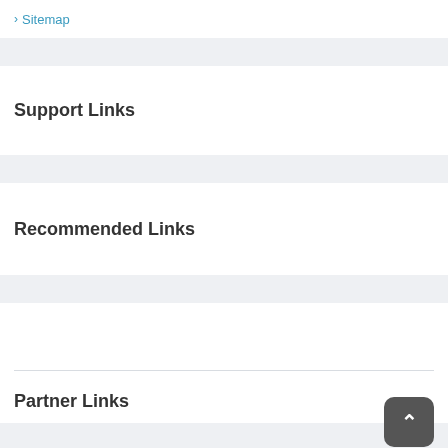> Sitemap
Support Links
Recommended Links
Partner Links